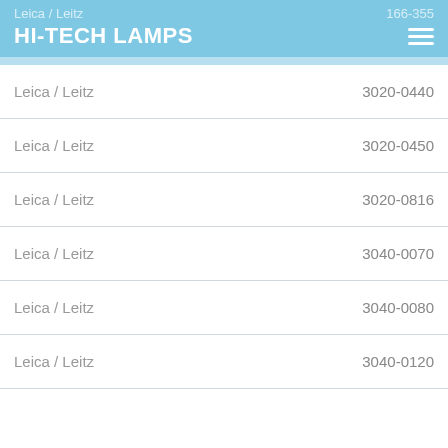Leica / Leitz · 166-355 · HI-TECH LAMPS
| Brand | Part Number |
| --- | --- |
| Leica / Leitz | 3020-0440 |
| Leica / Leitz | 3020-0450 |
| Leica / Leitz | 3020-0816 |
| Leica / Leitz | 3040-0070 |
| Leica / Leitz | 3040-0080 |
| Leica / Leitz | 3040-0120 |